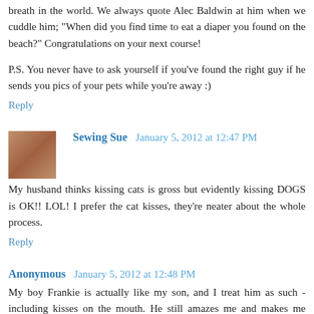breath in the world. We always quote Alec Baldwin at him when we cuddle him; "When did you find time to eat a diaper you found on the beach?" Congratulations on your next course!
P.S. You never have to ask yourself if you've found the right guy if he sends you pics of your pets while you're away :)
Reply
Sewing Sue  January 5, 2012 at 12:47 PM
My husband thinks kissing cats is gross but evidently kissing DOGS is OK!! LOL! I prefer the cat kisses, they're neater about the whole process.
Reply
Anonymous  January 5, 2012 at 12:48 PM
My boy Frankie is actually like my son, and I treat him as such - including kisses on the mouth. He still amazes me and makes me laugh every day. He has sooo many...